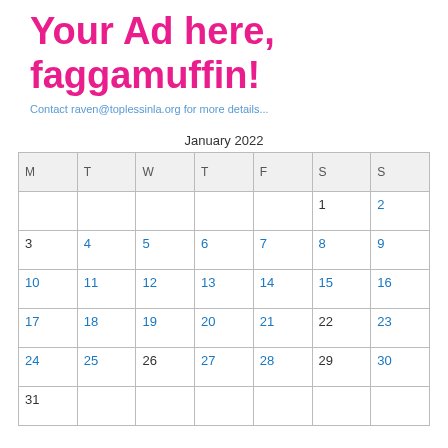Your Ad here, faggamuffin!
Contact raven@toplessinla.org for more details...
January 2022
| M | T | W | T | F | S | S |
| --- | --- | --- | --- | --- | --- | --- |
|  |  |  |  |  | 1 | 2 |
| 3 | 4 | 5 | 6 | 7 | 8 | 9 |
| 10 | 11 | 12 | 13 | 14 | 15 | 16 |
| 17 | 18 | 19 | 20 | 21 | 22 | 23 |
| 24 | 25 | 26 | 27 | 28 | 29 | 30 |
| 31 |  |  |  |  |  |  |